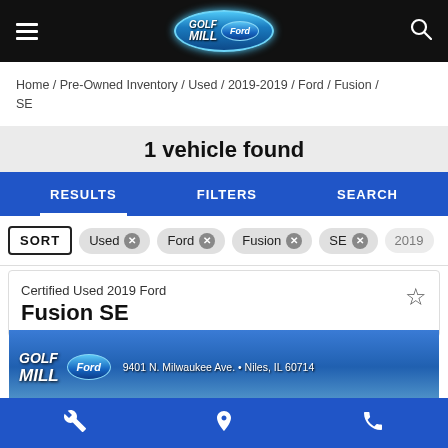Golf Mill Ford – navigation header
Home / Pre-Owned Inventory / Used / 2019-2019 / Ford / Fusion / SE
1 vehicle found
RESULTS   FILTERS   SEARCH
SORT  Used ×  Ford ×  Fusion ×  SE ×  2019
Certified Used 2019 Ford
Fusion SE
[Figure (photo): Golf Mill Ford dealer banner image showing logo and address: 9401 N. Milwaukee Ave. • Niles, IL 60714]
Bottom navigation bar with service, location, and phone icons